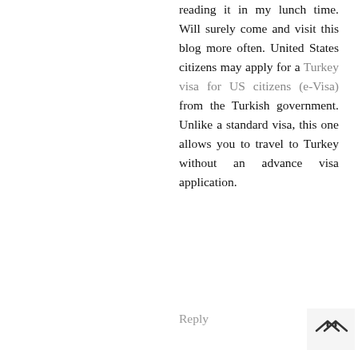reading it in my lunch time. Will surely come and visit this blog more often. United States citizens may apply for a Turkey visa for US citizens (e-Visa) from the Turkish government. Unlike a standard visa, this one allows you to travel to Turkey without an advance visa application.
Reply